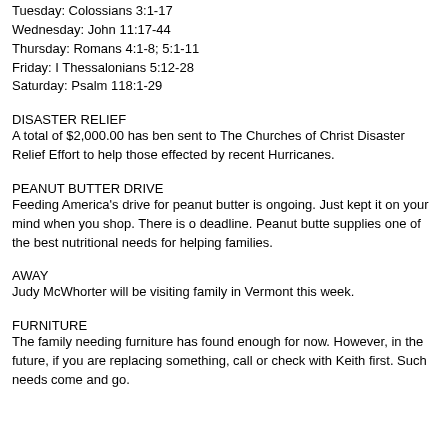Tuesday: Colossians 3:1-17
Wednesday: John 11:17-44
Thursday: Romans 4:1-8; 5:1-11
Friday: I Thessalonians 5:12-28
Saturday: Psalm 118:1-29
DISASTER RELIEF
A total of $2,000.00 has ben sent to The Churches of Christ Disaster Relief Effort to help those effected by recent Hurricanes.
PEANUT BUTTER DRIVE
Feeding America's drive for peanut butter is ongoing. Just kept it on your mind when you shop. There is o deadline. Peanut butte supplies one of the best nutritional needs for helping families.
AWAY
Judy McWhorter will be visiting family in Vermont this week.
FURNITURE
The family needing furniture has found enough for now. However, in the future, if you are replacing something, call or check with Keith first. Such needs come and go.